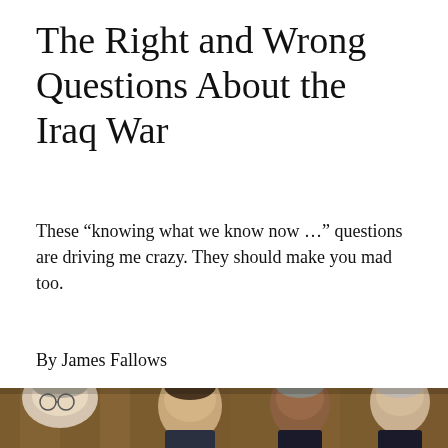The Right and Wrong Questions About the Iraq War
These “knowing what we know now …” questions are driving me crazy. They should make you mad too.
By James Fallows
[Figure (photo): Photograph of four men seated at a table, appearing to be in a government or military briefing setting. Visible figures include what appear to be senior U.S. government officials in a meeting room with wood-paneled walls.]